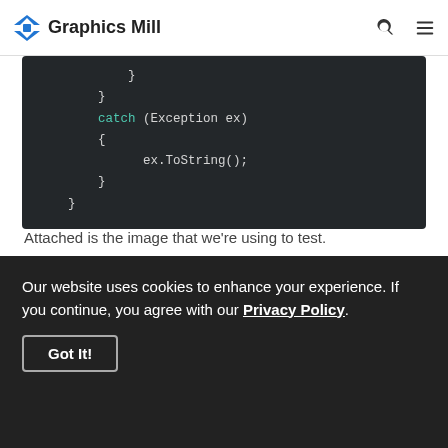Graphics Mill
[Figure (screenshot): Code block showing C# catch block with Exception ex, curly braces, and ex.ToString() call, on dark background]
Attached is the image that we're using to test.
Our website uses cookies to enhance your experience. If you continue, you agree with our Privacy Policy.
Got It!